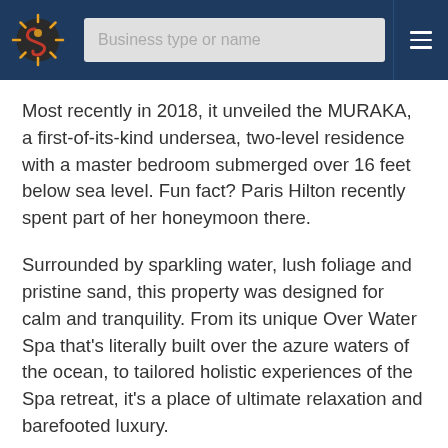Business type or name
Most recently in 2018, it unveiled the MURAKA, a first-of-its-kind undersea, two-level residence with a master bedroom submerged over 16 feet below sea level. Fun fact? Paris Hilton recently spent part of her honeymoon there.
Surrounded by sparkling water, lush foliage and pristine sand, this property was designed for calm and tranquility. From its unique Over Water Spa that's literally built over the azure waters of the ocean, to tailored holistic experiences of the Spa retreat, it's a place of ultimate relaxation and barefooted luxury.
The property prides on honoring the local culture